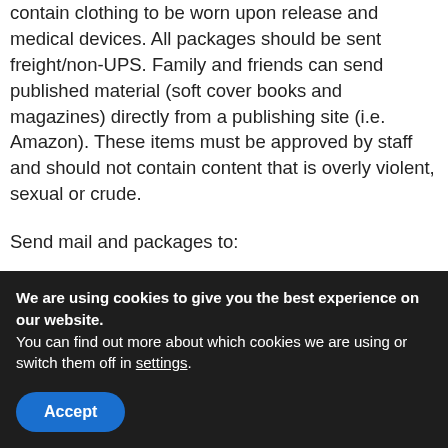contain clothing to be worn upon release and medical devices. All packages should be sent freight/non-UPS. Family and friends can send published material (soft cover books and magazines) directly from a publishing site (i.e. Amazon). These items must be approved by staff and should not contain content that is overly violent, sexual or crude.
Send mail and packages to:
INMATE NAME & REGISTER NUMBER
USP McCreary
330 FEDERAL WAY PINE KNOT, KY, 42635
We are using cookies to give you the best experience on our website.
You can find out more about which cookies we are using or switch them off in settings.
Accept